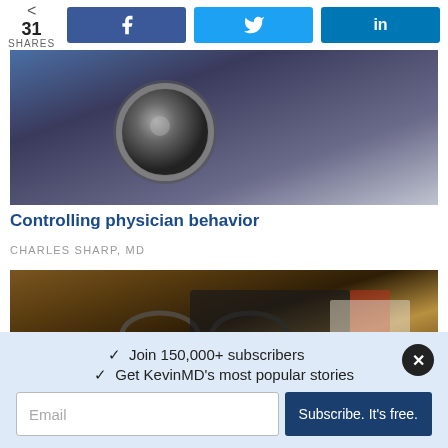31 SHARES | Facebook | Twitter | LinkedIn
[Figure (photo): Close-up photo of a stethoscope on a dark surface]
Controlling physician behavior
CHARLES SHARP, MD
[Figure (photo): Photo of glasses and a notebook on a wooden desk]
✓ Join 150,000+ subscribers
✓ Get KevinMD's most popular stories
Email | Subscribe. It's free.